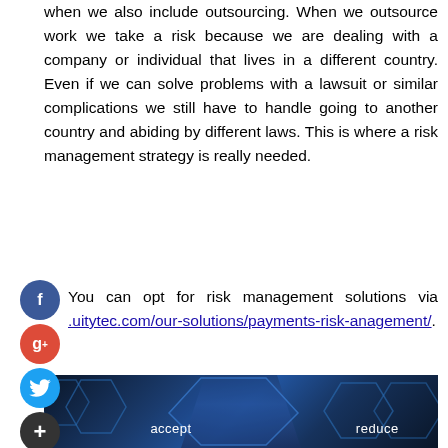when we also include outsourcing. When we outsource work we take a risk because we are dealing with a company or individual that lives in a different country. Even if we can solve problems with a lawsuit or similar complications we still have to handle going to another country and abiding by different laws. This is where a risk management strategy is really needed.
You can opt for risk management solutions via .uitytec.com/our-solutions/payments-risk-anagement/.
[Figure (photo): Dark blue background image showing a businessman in a suit with hexagonal overlays labeled 'accept' and 'reduce', representing risk management concepts.]